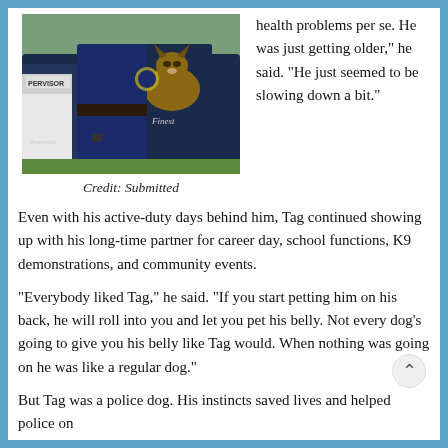[Figure (photo): A police officer standing next to a police SUV with a German Shepherd K9 dog visible in the back of the vehicle. Text on car reads 'PERVISOR', 'Township', and 'Finest'.]
Credit: Submitted
health problems per se. He was just getting older," he said. "He just seemed to be slowing down a bit."
Even with his active-duty days behind him, Tag continued showing up with his long-time partner for career day, school functions, K9 demonstrations, and community events.
“Everybody liked Tag,” he said. “If you start petting him on his back, he will roll into you and let you pet his belly. Not every dog’s going to give you his belly like Tag would. When nothing was going on he was like a regular dog.”
But Tag was a police dog. His instincts saved lives and helped police on